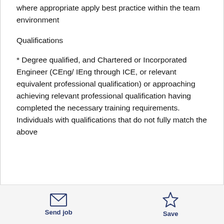where appropriate apply best practice within the team environment
Qualifications
* Degree qualified, and Chartered or Incorporated Engineer (CEng/ IEng through ICE, or relevant equivalent professional qualification) or approaching achieving relevant professional qualification having completed the necessary training requirements. Individuals with qualifications that do not fully match the above
Send job | Save